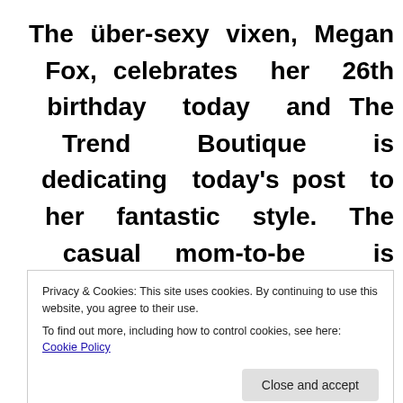The über-sexy vixen, Megan Fox, celebrates her 26th birthday today and The Trend Boutique is dedicating today's post to her fantastic style. The casual mom-to-be is expecting her first child with hubby, Brian Austin Green, and we're
Privacy & Cookies: This site uses cookies. By continuing to use this website, you agree to their use.
To find out more, including how to control cookies, see here: Cookie Policy
back styles today!